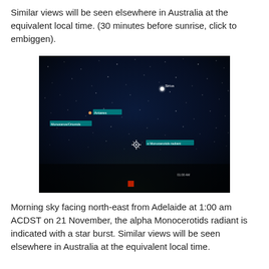Similar views will be seen elsewhere in Australia at the equivalent local time. (30 minutes before sunrise, click to embiggen).
[Figure (photo): Night sky photograph showing stars against a dark blue-black background, facing north-east from Adelaide. Labels in cyan/teal text mark Antares, Monoceros/Orionids radiant point, and alpha Monocerotids radiant with a star burst marker. Small red square visible at bottom center.]
Morning sky facing north-east from Adelaide at 1:00 am ACDST on 21 November, the alpha Monocerotids radiant is indicated with a star burst. Similar views will be seen elsewhere in Australia at the equivalent local time.